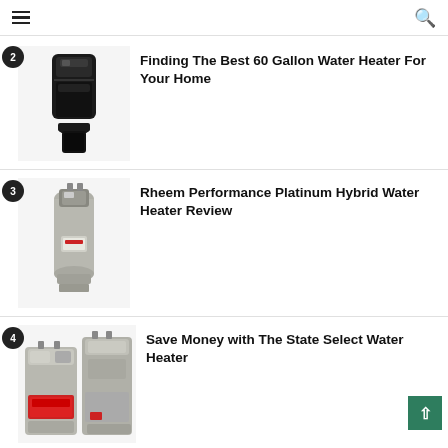navigation header with hamburger menu and search icon
2 - Finding The Best 60 Gallon Water Heater For Your Home
3 - Rheem Performance Platinum Hybrid Water Heater Review
4 - Save Money with The State Select Water Heater
5 - Ariston Electric Mini Tank Water